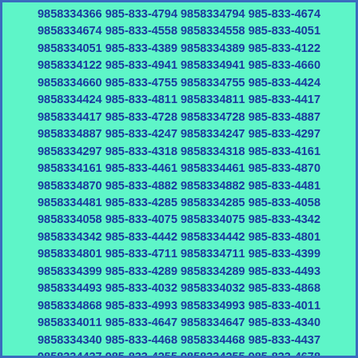9858334366 985-833-4794 9858334794 985-833-4674 9858334674 985-833-4558 9858334558 985-833-4051 9858334051 985-833-4389 9858334389 985-833-4122 9858334122 985-833-4941 9858334941 985-833-4660 9858334660 985-833-4755 9858334755 985-833-4424 9858334424 985-833-4811 9858334811 985-833-4417 9858334417 985-833-4728 9858334728 985-833-4887 9858334887 985-833-4247 9858334247 985-833-4297 9858334297 985-833-4318 9858334318 985-833-4161 9858334161 985-833-4461 9858334461 985-833-4870 9858334870 985-833-4882 9858334882 985-833-4481 9858334481 985-833-4285 9858334285 985-833-4058 9858334058 985-833-4075 9858334075 985-833-4342 9858334342 985-833-4442 9858334442 985-833-4801 9858334801 985-833-4711 9858334711 985-833-4399 9858334399 985-833-4289 9858334289 985-833-4493 9858334493 985-833-4032 9858334032 985-833-4868 9858334868 985-833-4993 9858334993 985-833-4011 9858334011 985-833-4647 9858334647 985-833-4340 9858334340 985-833-4468 9858334468 985-833-4437 9858334437 985-833-4255 9858334255 985-833-4678 9858334678 985-833-4471 9858334471 985-833-4826 9858334826 985-833-4665 9858334665 985-833-4964 9858334964 985-833-4190 9858334190 985-833-4152 9858334152 985-833-4175 9858334175 985-833-4093 9858334093 985-833-4419 9858334419 985-833-4539 9858334539 985-833-4365 9858334365 985-833-4388